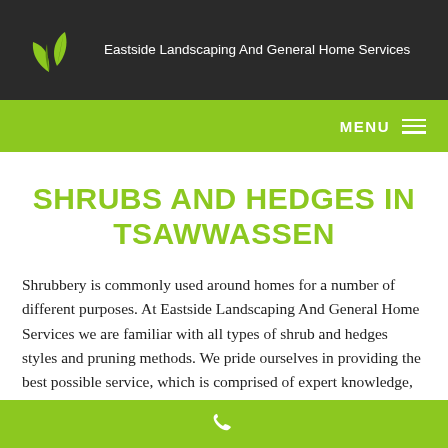Eastside Landscaping And General Home Services
SHRUBS AND HEDGES IN TSAWWASSEN
Shrubbery is commonly used around homes for a number of different purposes. At Eastside Landscaping And General Home Services we are familiar with all types of shrub and hedges styles and pruning methods. We pride ourselves in providing the best possible service, which is comprised of expert knowledge,
Phone contact footer